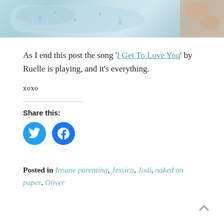[Figure (photo): Cropped photo of a baby wrapped in light blue patterned fabric/blanket, with a hand visible at the right edge]
As I end this post the song '‘I Get To Love You’' by Ruelle is playing, and it’s everything.
xoxo
Share this:
[Figure (infographic): Twitter and Facebook share buttons as circular blue icons]
Posted in Insane parenting, Jessica, Jodi, naked on paper, Oliver